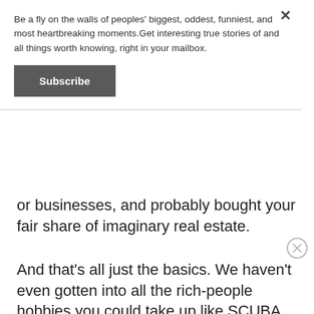Be a fly on the walls of peoples' biggest, oddest, funniest, and most heartbreaking moments.Get interesting true stories of and all things worth knowing, right in your mailbox.
Subscribe
or businesses, and probably bought your fair share of imaginary real estate.
And that's all just the basics. We haven't even gotten into all the rich-people hobbies you could take up like SCUBA golfing, sailboat customization, or learning how to melt down antique jewelry to make gem-encrusted bongs for yoga Wednesdays at the gym-slash-coffeehaus.